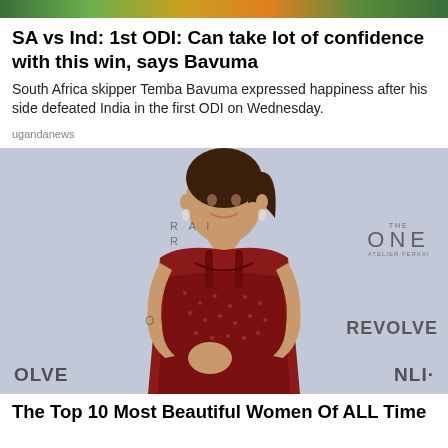[Figure (photo): Top decorative image strip with colorful background (green, yellow, orange tones)]
SA vs Ind: 1st ODI: Can take lot of confidence with this win, says Bavuma
South Africa skipper Temba Bavuma expressed happiness after his side defeated India in the first ODI on Wednesday.
ugandanews
[Figure (photo): Woman in red dress posing at a REVOLVE event. Background shows logos: RAI, THE ONE ATELIER FERKAI, REVOLVE, OLVE. She has brown hair in a ponytail and is smiling at the camera.]
The Top 10 Most Beautiful Women Of ALL Time